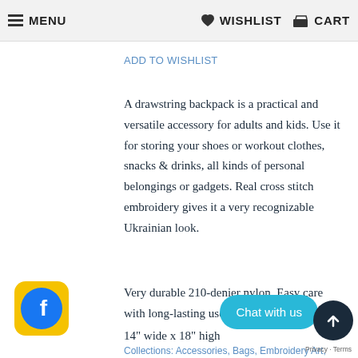MENU   WISHLIST   CART
ADD TO WISHLIST
A drawstring backpack is a practical and versatile accessory for adults and kids. Use it for storing your shoes or workout clothes, snacks & drinks, all kinds of personal belongings or gadgets. Real cross stitch embroidery gives it a very recognizable Ukrainian look.
Very durable 210-denier nylon. Easy care with long-lasting use.
14" wide x 18" high
Collections: Accessories, Bags, Embroidery Art,